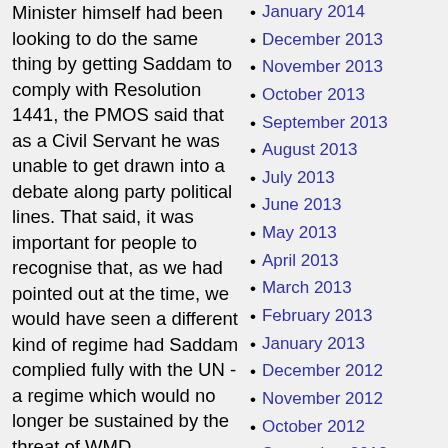Minister himself had been looking to do the same thing by getting Saddam to comply with Resolution 1441, the PMOS said that as a Civil Servant he was unable to get drawn into a debate along party political lines. That said, it was important for people to recognise that, as we had pointed out at the time, we would have seen a different kind of regime had Saddam complied fully with the UN - a regime which would no longer be sustained by the threat of WMD.
January 2014
December 2013
November 2013
October 2013
September 2013
August 2013
July 2013
June 2013
May 2013
April 2013
March 2013
February 2013
January 2013
December 2012
November 2012
October 2012
September 2012
August 2012
July 2012
June 2012
May 2012